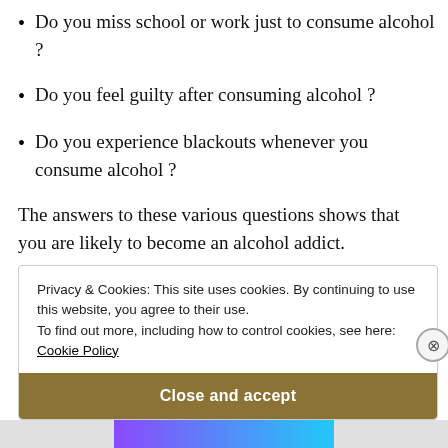Do you miss school or work just to consume alcohol ?
Do you feel guilty after consuming alcohol ?
Do you experience blackouts whenever you consume alcohol ?
The answers to these various questions shows that you are likely to become an alcohol addict.
Privacy & Cookies: This site uses cookies. By continuing to use this website, you agree to their use. To find out more, including how to control cookies, see here: Cookie Policy
Close and accept